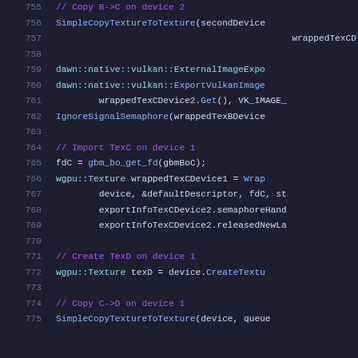[Figure (screenshot): Source code listing lines 755-775 showing C++/WebGPU code with syntax highlighting on dark background. Code involves texture copying between devices using Dawn/Vulkan APIs.]